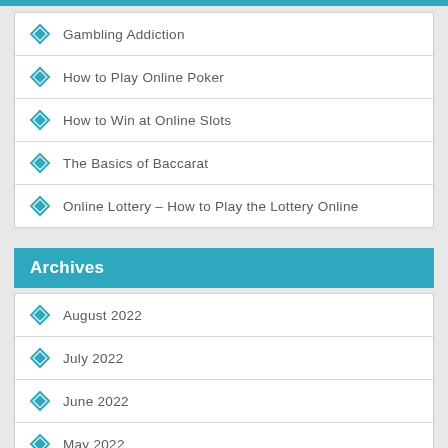Gambling Addiction
How to Play Online Poker
How to Win at Online Slots
The Basics of Baccarat
Online Lottery – How to Play the Lottery Online
Archives
August 2022
July 2022
June 2022
May 2022
April 2022
March 2022